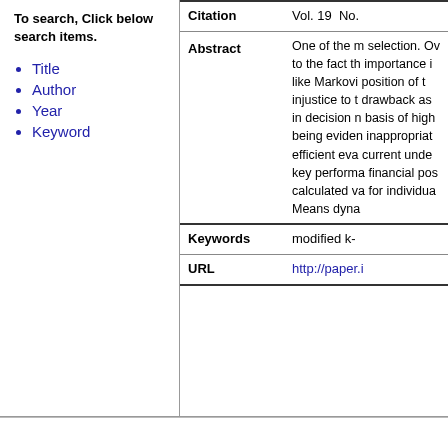To search, Click below search items.
Title
Author
Year
Keyword
| Citation | Vol. 19  No. |
| --- | --- |
| Abstract | One of the m selection. Ov to the fact th importance i like Markovi position of t injustice to t drawback as in decision n basis of high being eviden inappropriat efficient eva current unde key performa financial pos calculated va for individua Means dyna |
| Keywords | modified k- |
| URL | http://paper.i |